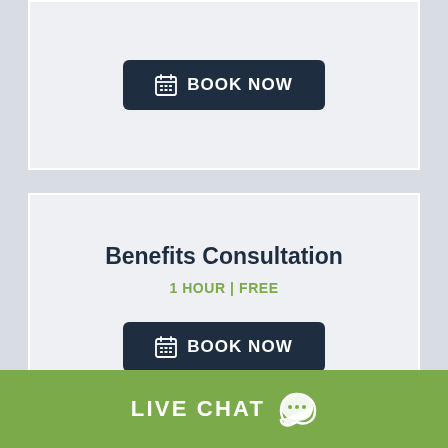[Figure (screenshot): Top card with a 'BOOK NOW' button on a light gray background, partially cropped at the top]
Benefits Consultation
1 HOUR | FREE
[Figure (screenshot): BOOK NOW button with calendar icon on dark navy background]
[Figure (screenshot): Partial bottom card, light gray, mostly empty]
LIVE CHAT